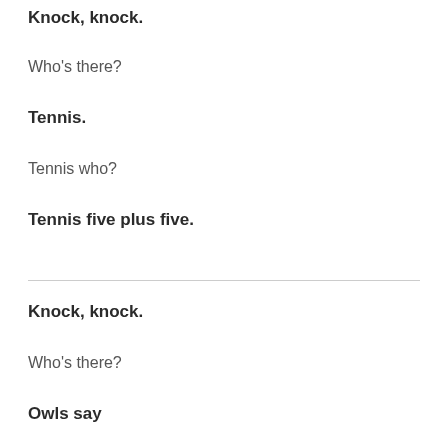Knock, knock.
Who's there?
Tennis.
Tennis who?
Tennis five plus five.
Knock, knock.
Who's there?
Owls say